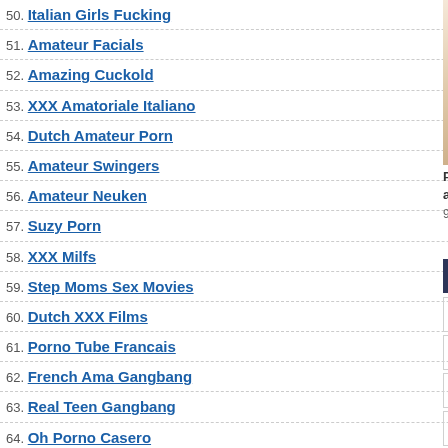50. Italian Girls Fucking
51. Amateur Facials
52. Amazing Cuckold
53. XXX Amatoriale Italiano
54. Dutch Amateur Porn
55. Amateur Swingers
56. Amateur Neuken
57. Suzy Porn
58. XXX Milfs
59. Step Moms Sex Movies
60. Dutch XXX Films
61. Porno Tube Francais
62. French Ama Gangbang
63. Real Teen Gangbang
64. Oh Porno Casero
65. Naakte Vrouwen Porno
66. German Pussies
67. My Wife Tied and Fucked
[Figure (screenshot): Video thumbnail of middle-aged blonde woman, duration 4m:24s]
Perfect middle-aged blonde married woman swallows dick and takes a facial cumshot
959 views   0%
[Figure (screenshot): Dark video thumbnail, duration 10m:...]
Desi woman intere wood...
330 v...
Cuckold Sex - Girlfriend Por...
| Cuckold Cleanup | ... |
| Try Cuckold Movies | ... |
| Home Housewife Porn | ... |
| Hot Amateur Blowjobs | ... |
| Cuckold Mature Sex | ... |
| Cuckold Wife Gangbang | B... |
[Figure (screenshot): Bottom video thumbnails - dark/outdoor scene and red outfit scene]